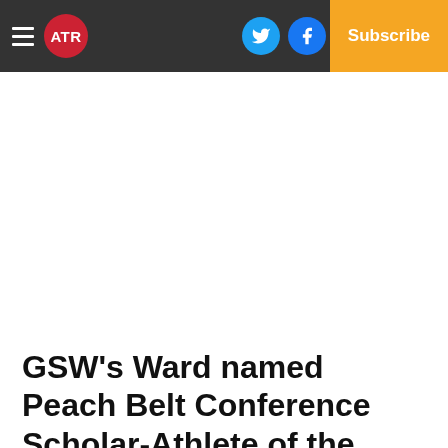ATR | Log In | Subscribe | Social icons (Twitter, Facebook, Email)
GSW's Ward named Peach Belt Conference Scholar-Athlete of the